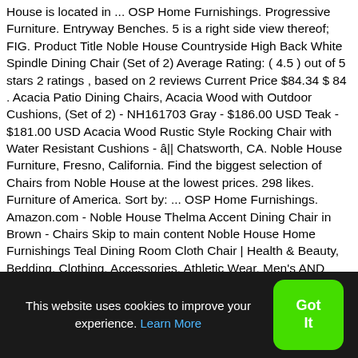House is located in ... OSP Home Furnishings. Progressive Furniture. Entryway Benches. 5 is a right side view thereof; FIG. Product Title Noble House Countryside High Back White Spindle Dining Chair (Set of 2) Average Rating: ( 4.5 ) out of 5 stars 2 ratings , based on 2 reviews Current Price $84.34 $ 84 . Acacia Patio Dining Chairs, Acacia Wood with Outdoor Cushions, (Set of 2) - NH161703 Gray - $186.00 USD Teak - $181.00 USD Acacia Wood Rustic Style Rocking Chair with Water Resistant Cushions - â¦| Chatsworth, CA. Noble House Furniture, Fresno, California. Find the biggest selection of Chairs from Noble House at the lowest prices. 298 likes. Furniture of America. Sort by: ... OSP Home Furnishings. Amazon.com - Noble House Thelma Accent Dining Chair in Brown - Chairs Skip to main content Noble House Home Furnishings Teal Dining Room Cloth Chair | Health & Beauty, Bedding, Clothing, Accessories, Athletic Wear, Men's AND Women's!! Outdoor Dining Chair with Cushion (Set of 2) -
This website uses cookies to improve your experience. Learn More
Got It